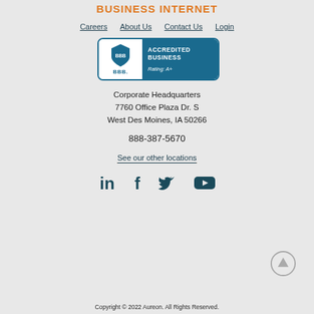BUSINESS INTERNET
Careers   About Us   Contact Us   Login
[Figure (logo): BBB Accredited Business badge with Rating: A+]
Corporate Headquarters
7760 Office Plaza Dr. S
West Des Moines, IA 50266
888-387-5670
See our other locations
[Figure (illustration): Social media icons: LinkedIn, Facebook, Twitter, YouTube]
Copyright © 2022 Aureon. All Rights Reserved.